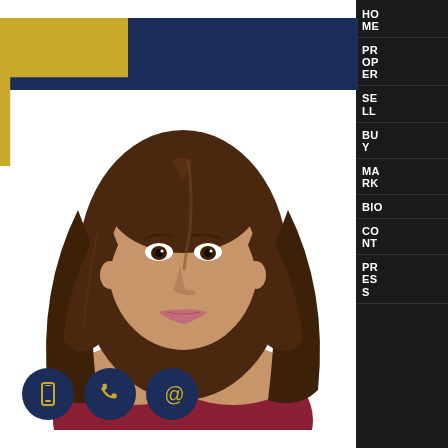[Figure (photo): Professional headshot of a woman with long dark brown hair, wearing a red top, smiling, against a white background, framed with gold and navy blue decorative borders]
HOME | PROPERTIES | SELLERS | BUYERS | MARKET | BIO | CONTACT | PRESS
[Figure (infographic): Three circular icon buttons with dark navy background and gold icons: mobile phone, telephone handset, and at-sign (@)]